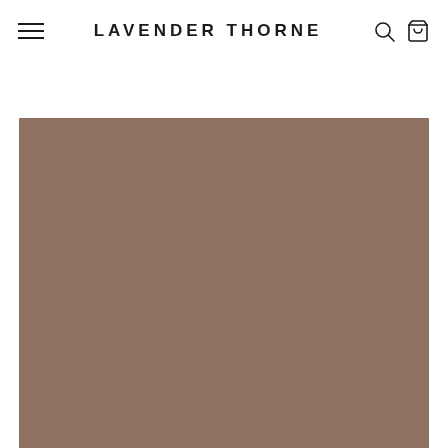LAVENDER THORNE
[Figure (photo): Large rectangular image placeholder with muted brownish-taupe solid color fill, serving as a hero/product image on a retail website.]